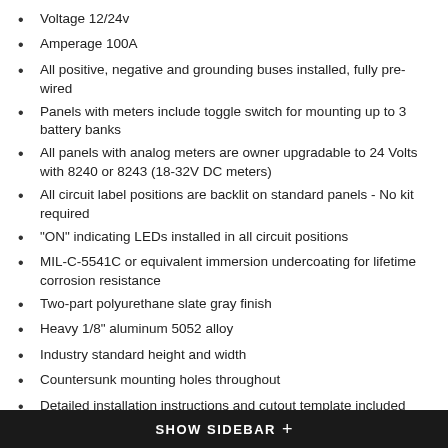Voltage 12/24v
Amperage 100A
All positive, negative and grounding buses installed, fully pre-wired
Panels with meters include toggle switch for mounting up to 3 battery banks
All panels with analog meters are owner upgradable to 24 Volts with 8240 or 8243 (18-32V DC meters)
All circuit label positions are backlit on standard panels - No kit required
"ON" indicating LEDs installed in all circuit positions
MIL-C-5541C or equivalent immersion undercoating for lifetime corrosion resistance
Two-part polyurethane slate gray finish
Heavy 1/8" aluminum 5052 alloy
Industry standard height and width
Countersunk mounting holes throughout
Detailed installation instructions and cutout template included
Includes set of 30 common Large Format Panel Labels
Over 500 individual labels available
SHOW SIDEBAR +